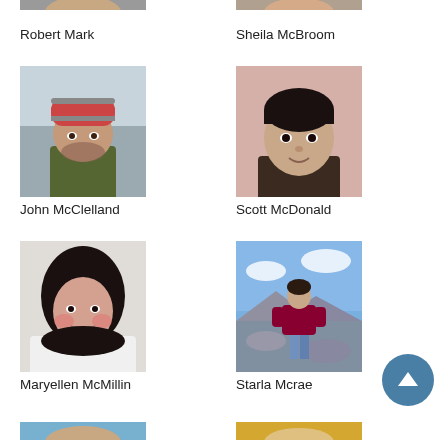[Figure (photo): Partial photo of Robert Mark (cropped at top)]
Robert Mark
[Figure (photo): Partial photo of Sheila McBroom (cropped at top)]
Sheila McBroom
[Figure (photo): Photo of John McClelland, man wearing striped winter hat outdoors]
John McClelland
[Figure (photo): Photo of Scott McDonald, young person with dark hair, pinkish background]
Scott McDonald
[Figure (photo): Photo of Maryellen McMillin, woman with dark curly hair]
Maryellen McMillin
[Figure (photo): Photo of Starla Mcrae, person standing on rocks with blue sky and mountains]
Starla Mcrae
[Figure (photo): Partial photos at bottom (cropped)]